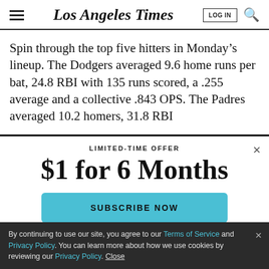Los Angeles Times
Spin through the top five hitters in Monday’s lineup. The Dodgers averaged 9.6 home runs per bat, 24.8 RBI with 135 runs scored, a .255 average and a collective .843 OPS. The Padres averaged 10.2 homers, 31.8 RBI
LIMITED-TIME OFFER
$1 for 6 Months
SUBSCRIBE NOW
By continuing to use our site, you agree to our Terms of Service and Privacy Policy. You can learn more about how we use cookies by reviewing our Privacy Policy. Close